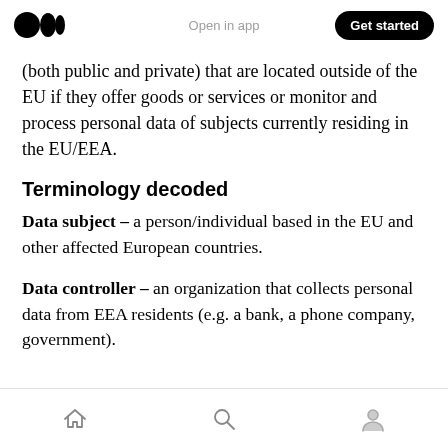Open in app | Get started
(both public and private) that are located outside of the EU if they offer goods or services or monitor and process personal data of subjects currently residing in the EU/EEA.
Terminology decoded
Data subject – a person/individual based in the EU and other affected European countries.
Data controller – an organization that collects personal data from EEA residents (e.g. a bank, a phone company, government).
Home | Search | Profile